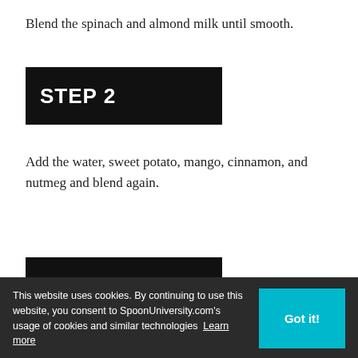Blend the spinach and almond milk until smooth.
STEP 2
Add the water, sweet potato, mango, cinnamon, and nutmeg and blend again.
STEP 3
[Figure (other): Advertisement for HC / Her Campus showing store address: 44110 Ashburn Shopping Plaza 190, with a navigation arrow icon and View store hours, get directions text.]
ur blood sugar. to skin
This website uses cookies. By continuing to use this website, you consent to SpoonUniversity.com's usage of cookies and similar technologies Learn more
[Figure (other): Bottom advertisement banner for HER CAMPUS with teal background and close button X]